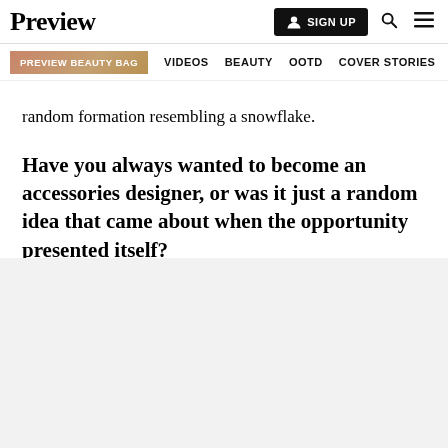Preview | SIGN UP
PREVIEW BEAUTY BAG  VIDEOS  BEAUTY  OOTD  COVER STORIES
random formation resembling a snowflake.
Have you always wanted to become an accessories designer, or was it just a random idea that came about when the opportunity presented itself?